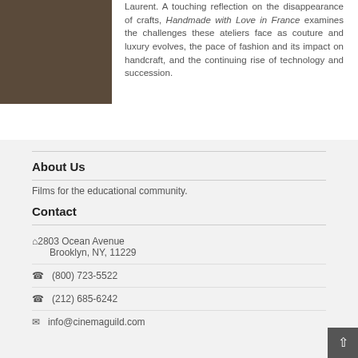[Figure (photo): A dark-toned photo showing what appears to be an atelier or workshop interior with people working.]
Laurent. A touching reflection on the disappearance of crafts, Handmade with Love in France examines the challenges these ateliers face as couture and luxury evolves, the pace of fashion and its impact on handcraft, and the continuing rise of technology and succession.
About Us
Films for the educational community.
Contact
2803 Ocean Avenue
Brooklyn, NY, 11229
(800) 723-5522
(212) 685-6242
info@cinemaguild.com